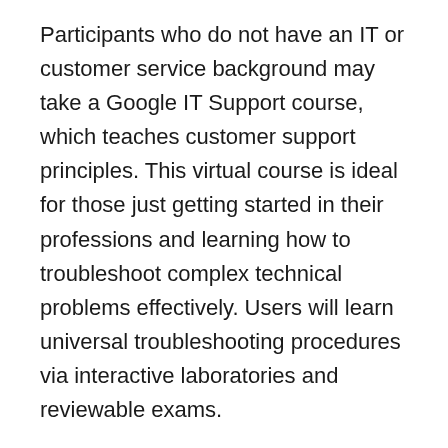Participants who do not have an IT or customer service background may take a Google IT Support course, which teaches customer support principles. This virtual course is ideal for those just getting started in their professions and learning how to troubleshoot complex technical problems effectively. Users will learn universal troubleshooting procedures via interactive laboratories and reviewable exams.
The way Google inserts client testimonials into the lectures is a standout aspect of this training. You'll hear from genuine Google employees who have utilized this training to further their careers. In addition, it encourages